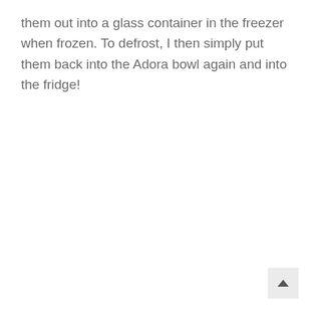them out into a glass container in the freezer when frozen. To defrost, I then simply put them back into the Adora bowl again and into the fridge!